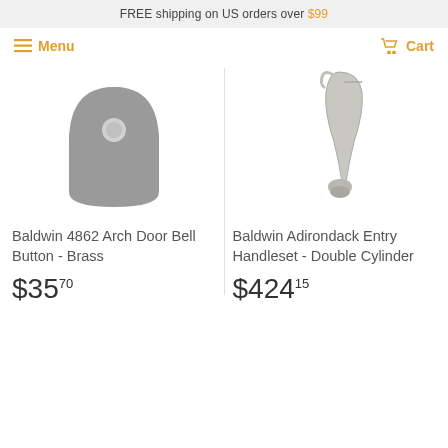FREE shipping on US orders over $99
Menu | Cart
[Figure (photo): Gray arch-shaped door bell button product photo]
Baldwin 4862 Arch Door Bell Button - Brass
$35.70
[Figure (photo): Silver entry handleset double cylinder product photo]
Baldwin Adirondack Entry Handleset - Double Cylinder
$424.15